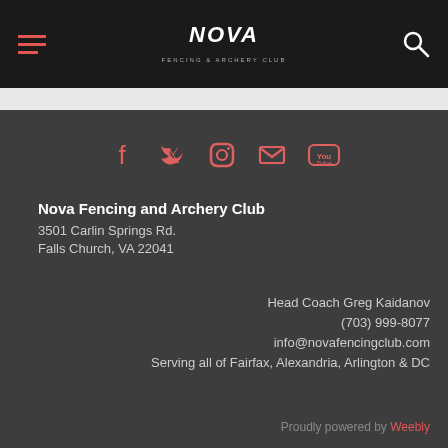NOVA Fencing & Archery Club navigation bar with hamburger menu, NOVA logo, and search icon
[Figure (infographic): Social media icons row: Facebook, Twitter, Instagram, Email, YouTube — rendered in coral/salmon color]
Nova Fencing and Archery Club
3501 Carlin Springs Rd.
Falls Church, VA 22041
Head Coach Greg Kaidanov
(703) 999-8077
info@novafencingclub.com
Serving all of Fairfax, Alexandria, Arlington & DC
Proudly powered by Weebly